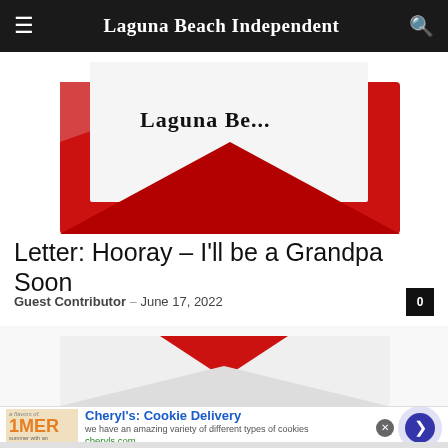Laguna Beach Independent
[Figure (photo): Red envelope partially open revealing a letter with Laguna Beach Independent masthead, top portion of envelope visible]
Letter: Hooray – I'll be a Grandpa Soon
Guest Contributor – June 17, 2022
[Figure (photo): White envelope with red flap partially open, lower portion of an envelope visible]
[Figure (infographic): Advertisement for Cheryl's Cookie Delivery – 'we have an amazing variety of different types of cookies' – cheryls.com]